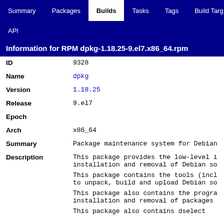Summary | Packages | Builds | Tasks | Tags | Build Targ... | API
Information for RPM dpkg-1.18.25-9.el7.x86_64.rpm
| Field | Value |
| --- | --- |
| ID | 9328 |
| Name | dpkg |
| Version | 1.18.25 |
| Release | 9.el7 |
| Epoch |  |
| Arch | x86_64 |
| Summary | Package maintenance system for Debian |
| Description | This package provides the low-level infrastructure for installation and removal of Debian so...

This package contains the tools (incl... to unpack, build and upload Debian so...

This package also contains the progra... installation and removal of packages...

This package also contains dselect... |